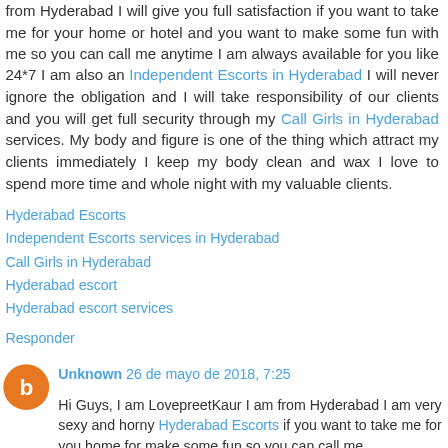from Hyderabad I will give you full satisfaction if you want to take me for your home or hotel and you want to make some fun with me so you can call me anytime I am always available for you like 24*7 I am also an Independent Escorts in Hyderabad I will never ignore the obligation and I will take responsibility of our clients and you will get full security through my Call Girls in Hyderabad services. My body and figure is one of the thing which attract my clients immediately I keep my body clean and wax I love to spend more time and whole night with my valuable clients.
Hyderabad Escorts
Independent Escorts services in Hyderabad
Call Girls in Hyderabad
Hyderabad escort
Hyderabad escort services
Responder
Unknown 26 de mayo de 2018, 7:25
Hi Guys, I am LovepreetKaur I am from Hyderabad I am very sexy and horny Hyderabad Escorts if you want to take me for you home for make some fun so you can call me